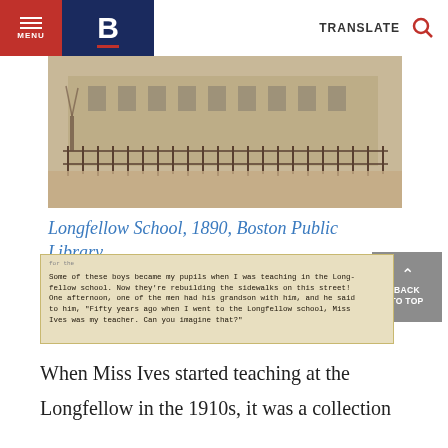MENU | B | TRANSLATE
[Figure (photo): Black and white / sepia photograph of Longfellow School exterior, 1890, showing a fence along a street with a school building in the background, from Boston Public Library.]
Longfellow School, 1890, Boston Public Library
[Figure (photo): Sepia-toned image of a typewritten note reading: 'Some of these boys became my pupils when I was teaching in the Longfellow school. Now they're rebuilding the sidewalks on this street! One afternoon, one of the men had his grandson with him, and he said to him, "Fifty years ago when I went to the Longfellow school, Miss Ives was my teacher. Can you imagine that?"']
When Miss Ives started teaching at the Longfellow in the 1910s, it was a collection